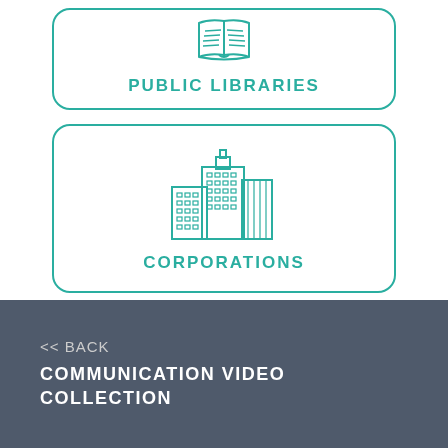[Figure (illustration): Teal outline icon of an open book with lines representing text, inside a rounded rectangle card labeled PUBLIC LIBRARIES]
PUBLIC LIBRARIES
[Figure (illustration): Teal outline icon of city buildings/skyscrapers, inside a rounded rectangle card labeled CORPORATIONS]
CORPORATIONS
<< BACK
COMMUNICATION VIDEO COLLECTION